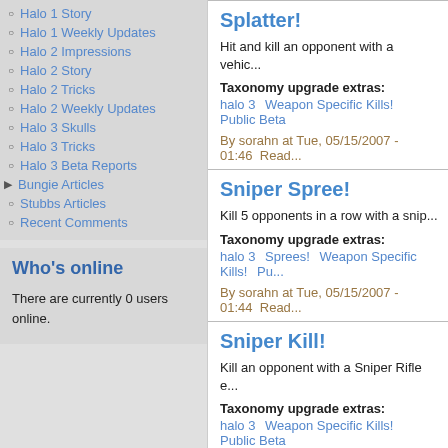Halo 1 Story
Halo 1 Weekly Updates
Halo 2 Impressions
Halo 2 Story
Halo 2 Tricks
Halo 2 Weekly Updates
Halo 3 Skulls
Halo 3 Tricks
Halo 3 Beta Reports
Bungie Articles
Stubbs Articles
Recent Comments
Who's online
There are currently 0 users online.
Splatter!
Hit and kill an opponent with a vehic...
Taxonomy upgrade extras:
halo 3   Weapon Specific Kills!   Public Beta
By sorahn at Tue, 05/15/2007 - 01:46  Read...
Sniper Spree!
Kill 5 opponents in a row with a snip...
Taxonomy upgrade extras:
halo 3   Sprees!   Weapon Specific Kills!   Pu...
By sorahn at Tue, 05/15/2007 - 01:44  Read...
Sniper Kill!
Kill an opponent with a Sniper Rifle e...
Taxonomy upgrade extras:
halo 3   Weapon Specific Kills!   Public Beta
By sorahn at Tue, 05/15/2007 - 01:42  Read...